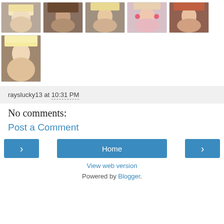[Figure (photo): Grid of portrait thumbnail photos, 5 on top row and 1 on second row, showing women's faces]
rayslucky13 at 10:31 PM
No comments:
Post a Comment
< Home >
View web version
Powered by Blogger.